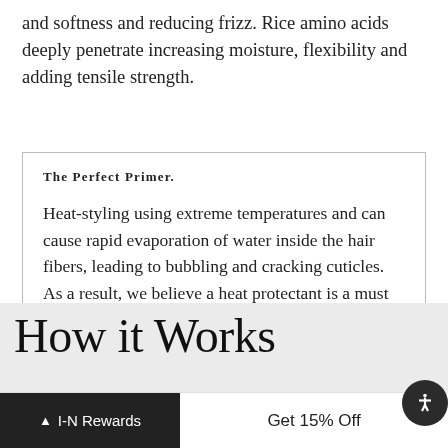and softness and reducing frizz. Rice amino acids deeply penetrate increasing moisture, flexibility and adding tensile strength.
The Perfect Primer.

Heat-styling using extreme temperatures and can cause rapid evaporation of water inside the hair fibers, leading to bubbling and cracking cuticles. As a result, we believe a heat protectant is a must to preserve hair integrity.
How it Works
Get 15% Off